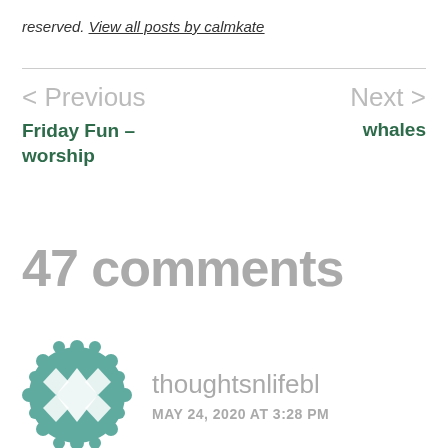reserved. View all posts by calmkate
< Previous   Next >
Friday Fun – worship
whales
47 comments
[Figure (logo): Circular teal badge logo with diamond/quilt pattern in white]
thoughtsnlifebl
MAY 24, 2020 AT 3:28 PM